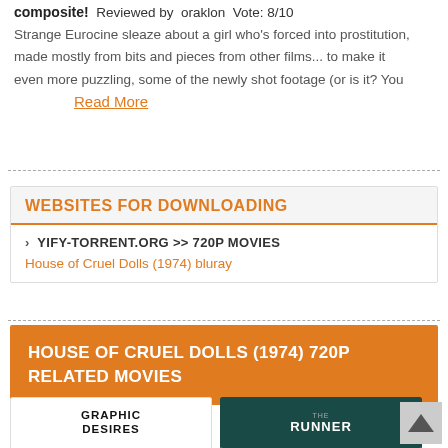composite!  Reviewed by  oraklon  Vote: 8/10
Strange Eurocine sleaze about a girl who's forced into prostitution, made mostly from bits and pieces from other films... to make it even more puzzling, some of the newly shot footage (or is it? You
Read More
WEBSITES FOR DOWNLOADING
› YIFY-TORRENT.ORG >> 720P MOVIES
House of Cruel Dolls (1974) bluray
HOUSE OF CRUEL DOLLS (1974) 720P RELATED MOVIES
[Figure (other): Thumbnail for Graphic Desires movie]
[Figure (other): Thumbnail for The Runner movie]